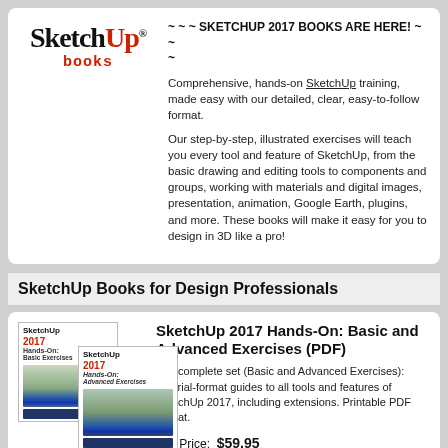[Figure (logo): SketchUp books logo with black serif text and red 'Up', with 'books' in red monospace below]
~ ~ ~ SKETCHUP 2017 BOOKS ARE HERE! ~ ~ ~
Comprehensive, hands-on SketchUp training, made easy with our detailed, clear, easy-to-follow format.
Our step-by-step, illustrated exercises will teach you every tool and feature of SketchUp, from the basic drawing and editing tools to components and groups, working with materials and digital images, presentation, animation, Google Earth, plugins, and more. These books will make it easy for you to design in 3D like a pro!
SketchUp Books for Design Professionals
[Figure (photo): Two overlapping book covers for SketchUp 2017 Hands-On Basic and Advanced Exercises]
SketchUp 2017 Hands-On: Basic and Advanced Exercises (PDF)
The complete set (Basic and Advanced Exercises): Tutorial-format guides to all tools and features of SketchUp 2017, including extensions. Printable PDF format.
Our Price:  $59.95